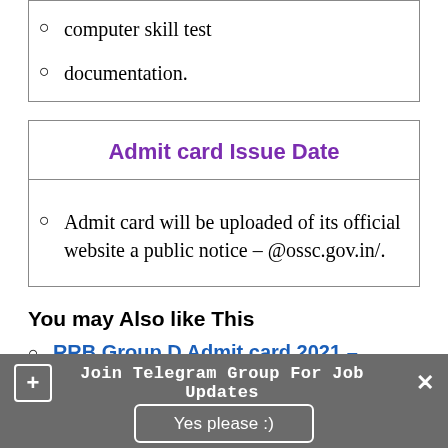computer skill test
documentation.
Admit card Issue Date
Admit card will be uploaded of its official website a public notice – @ossc.gov.in/.
You may Also like This
RRB Group D Admit card 2021 – Check
Join Telegram Group For Job Updates